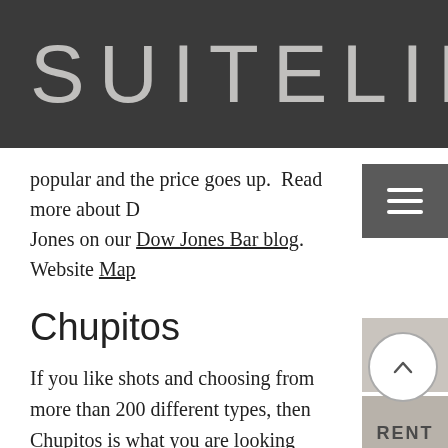SUITELIFE
popular and the price goes up.  Read more about Dow Jones on our Dow Jones Bar blog. Website Map
Chupitos
If you like shots and choosing from more than 200 different types, then Chupitos is what you are looking for.  There are two Chupitos bars in Barcelona and they are both great fun.  The shots are €2 each.  Read more about Chupitos Here. Website Map